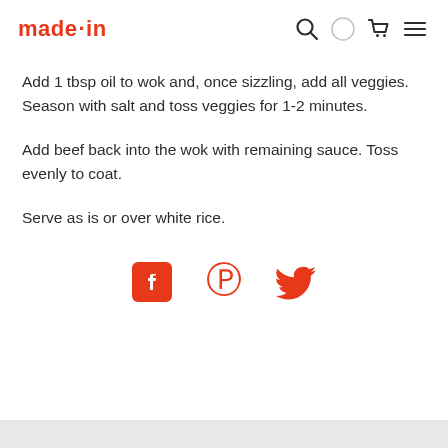made·in
Add 1 tbsp oil to wok and, once sizzling, add all veggies. Season with salt and toss veggies for 1-2 minutes.
Add beef back into the wok with remaining sauce. Toss evenly to coat.
Serve as is or over white rice.
[Figure (infographic): Three social media share icons: Facebook, Pinterest, and Twitter, in red/orange color]